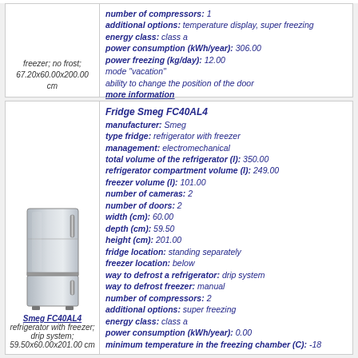freezer; no frost; 67.20x60.00x200.00 cm | number of compressors: 1 | additional options: temperature display, super freezing | energy class: class a | power consumption (kWh/year): 306.00 | power freezing (kg/day): 12.00 | mode "vacation" | ability to change the position of the door | more information
[Figure (photo): Photo of Smeg FC40AL4 refrigerator, silver/stainless steel, with freezer below]
Smeg FC40AL4 refrigerator with freezer; drip system; 59.50x60.00x201.00 cm
Fridge Smeg FC40AL4 | manufacturer: Smeg | type fridge: refrigerator with freezer | management: electromechanical | total volume of the refrigerator (l): 350.00 | refrigerator compartment volume (l): 249.00 | freezer volume (l): 101.00 | number of cameras: 2 | number of doors: 2 | width (cm): 60.00 | depth (cm): 59.50 | height (cm): 201.00 | fridge location: standing separately | freezer location: below | way to defrost a refrigerator: drip system | way to defrost freezer: manual | number of compressors: 2 | additional options: super freezing | energy class: class a | power consumption (kWh/year): 0.00 | minimum temperature in the freezing chamber (C): -18